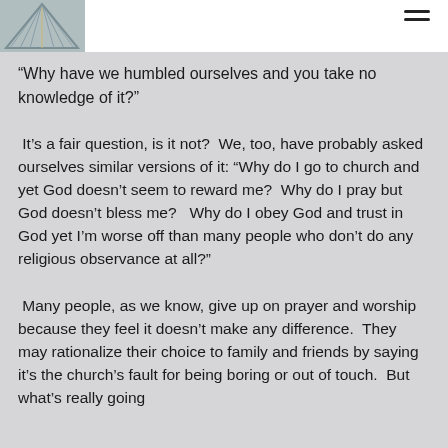“Why have we humbled ourselves and you take no knowledge of it?”
It’s a fair question, is it not?  We, too, have probably asked ourselves similar versions of it: “Why do I go to church and yet God doesn’t seem to reward me?  Why do I pray but God doesn’t bless me?   Why do I obey God and trust in God yet I’m worse off than many people who don’t do any religious observance at all?”
Many people, as we know, give up on prayer and worship because they feel it doesn’t make any difference.  They may rationalize their choice to family and friends by saying it’s the church’s fault for being boring or out of touch.  But what’s really going